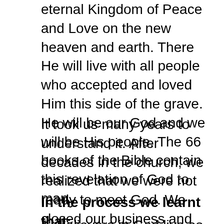eternal Kingdom of Peace and Love on the new heaven and earth.  There He will live with all people who accepted and loved Him this side of the grave.  He will be our God and we will be His people.  The 66 books of the Bible contain this revelation of God to man.
It took us many years to understand it.  After decades in the church, we realized that we were not ready to meet God.  We closed our business and began to seek God full time.  It is during these years that our wonderful heavenly Father started to reveal more and more of His plan to us.
In the process we learnt that:
1.  Believers in God live as strangers in hostile